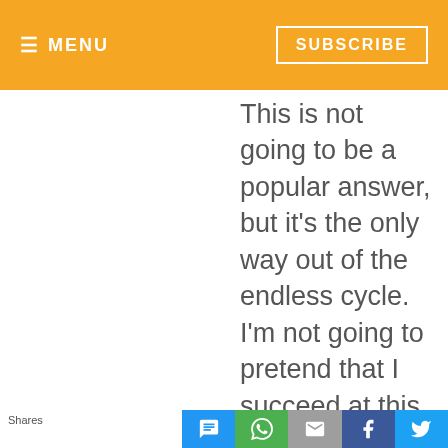≡ MENU   SUBSCRIBE
This is not going to be a popular answer, but it's the only way out of the endless cycle. I'm not going to pretend that I succeed at this all the time, but it's the only way to go.
Shares [social share buttons: message, WhatsApp, email, Facebook, Twitter]